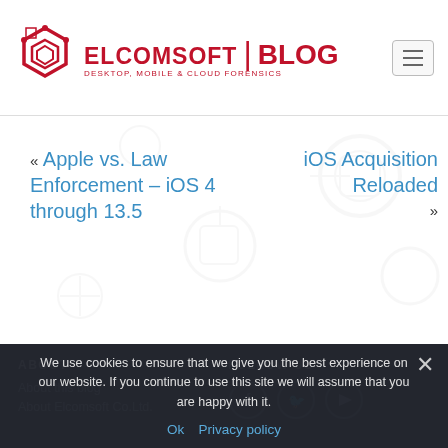ELCOMSOFT | BLOG — DESKTOP, MOBILE & CLOUD FORENSICS
« Apple vs. Law Enforcement – iOS 4 through 13.5
iOS Acquisition Reloaded »
ABOUT
About this blog
About Elcomsoft Co.Ltd.
FOLLOW US
We use cookies to ensure that we give you the best experience on our website. If you continue to use this site we will assume that you are happy with it.
Ok   Privacy policy